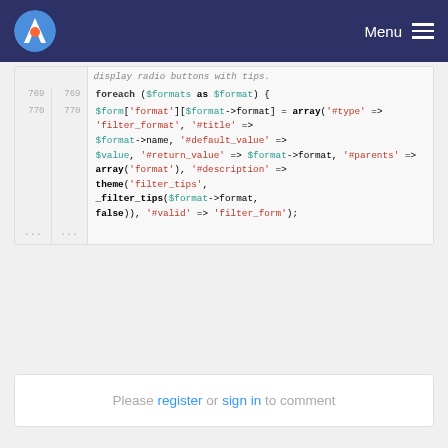Menu
display radio buttons with tips;
769  foreach ($formats as $format) {
770  $form['format'][$format->format] = array('#type' => 'filter_format', '#title' => $format->name, '#default_value' => $value, '#return_value' => $format->format, '#parents' => array('format'), '#description' => theme('filter_tips', _filter_tips($format->format, false)), '#valid' => 'filter_form');
Please register or sign in to comment